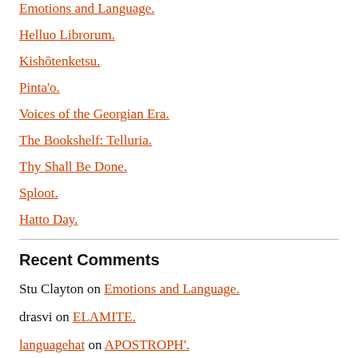Emotions and Language.
Helluo Librorum.
Kishōtenketsu.
Pinta'o.
Voices of the Georgian Era.
The Bookshelf: Telluria.
Thy Shall Be Done.
Sploot.
Hatto Day.
Recent Comments
Stu Clayton on Emotions and Language.
drasvi on ELAMITE.
languagehat on APOSTROPH'.
drasvi on ELAMITE.
John Cowan on APOSTROPH'.